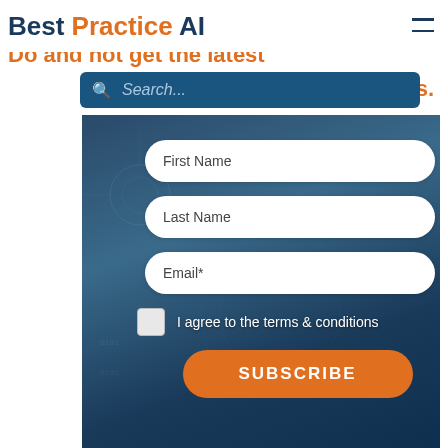Best Practice AI
Do and not get the latest
Search...
s.
First Name
Last Name
Email*
I agree to the terms & conditions
SUBSCRIBE
Best Practice AI